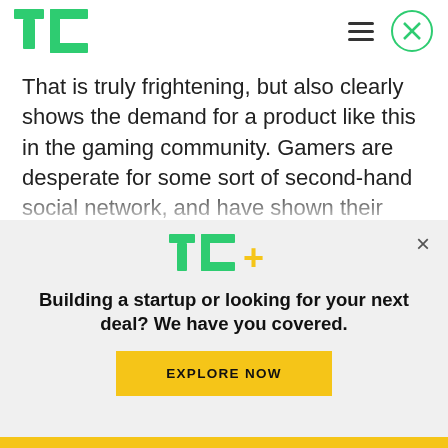[Figure (logo): TechCrunch TC logo in green, top left header]
That is truly frightening, but also clearly shows the demand for a product like this in the gaming community. Gamers are desperate for some sort of second-hand social network, and have shown their willingness to flock to platforms like Twitch and YouTube Gaming that appear very different from traditional social networks but meet the needs of
[Figure (logo): TC+ logo in green and yellow]
Building a startup or looking for your next deal? We have you covered.
EXPLORE NOW